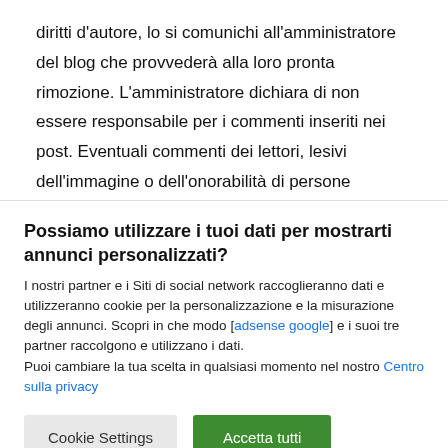diritti d'autore, lo si comunichi all'amministratore del blog che provvederà alla loro pronta rimozione. L'amministratore dichiara di non essere responsabile per i commenti inseriti nei post. Eventuali commenti dei lettori, lesivi dell'immagine o dell'onorabilità di persone
Possiamo utilizzare i tuoi dati per mostrarti annunci personalizzati?
I nostri partner e i Siti di social network raccoglieranno dati e utilizzeranno cookie per la personalizzazione e la misurazione degli annunci. Scopri in che modo [adsense google] e i suoi tre partner raccolgono e utilizzano i dati.
Puoi cambiare la tua scelta in qualsiasi momento nel nostro Centro sulla privacy